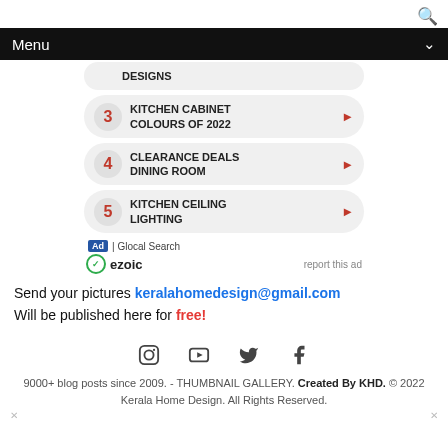Menu
DESIGNS
3 KITCHEN CABINET COLOURS OF 2022
4 CLEARANCE DEALS DINING ROOM
5 KITCHEN CEILING LIGHTING
Ad | Glocal Search
ezoic   report this ad
Send your pictures keralahomedesign@gmail.com Will be published here for free!
9000+ blog posts since 2009. - THUMBNAIL GALLERY. Created By KHD. © 2022 Kerala Home Design. All Rights Reserved.